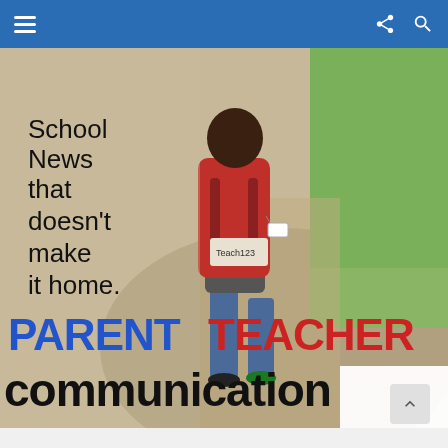Navigation bar with hamburger menu, share, and search icons
[Figure (photo): A young child walking away from the camera on a path, wearing jeans and carrying a large red L.L.Bean backpack labeled 'Teach123'. Text overlay reads 'School News that doesn't make it home.' Below in large styled text: 'PARENT TEACHER COMMUNICATION' in blue, red, and black.]
PARENT TEACHER COMMUNICATION — School News that doesn't make it home.